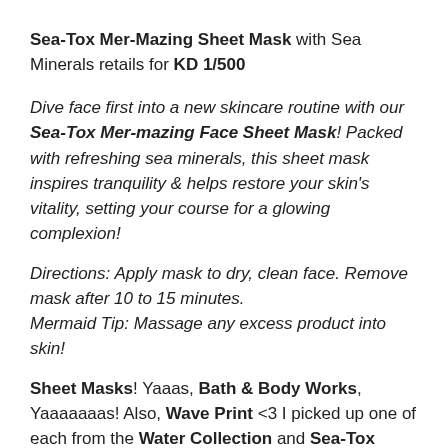Sea-Tox Mer-Mazing Sheet Mask with Sea Minerals retails for KD 1/500
Dive face first into a new skincare routine with our Sea-Tox Mer-mazing Face Sheet Mask! Packed with refreshing sea minerals, this sheet mask inspires tranquility & helps restore your skin's vitality, setting your course for a glowing complexion!
Directions: Apply mask to dry, clean face. Remove mask after 10 to 15 minutes.
Mermaid Tip: Massage any excess product into skin!
Sheet Masks! Yaaas, Bath & Body Works, Yaaaaaaas! Also, Wave Print <3 I picked up one of each from the Water Collection and Sea-Tox Collection. Can't wait to try them out!